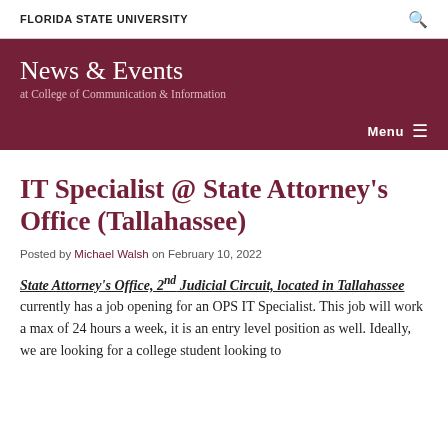FLORIDA STATE UNIVERSITY
News & Events at College of Communication & Information
Menu
IT Specialist @ State Attorney's Office (Tallahassee)
Posted by Michael Walsh on February 10, 2022
State Attorney's Office, 2nd Judicial Circuit, located in Tallahassee currently has a job opening for an OPS IT Specialist. This job will work a max of 24 hours a week, it is an entry level position as well. Ideally, we are looking for a college student looking to